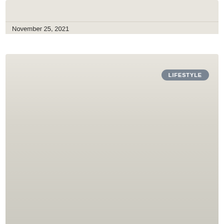November 25, 2021
[Figure (other): Large card area with gradient background and a LIFESTYLE category badge in the upper right corner]
LIFESTYLE